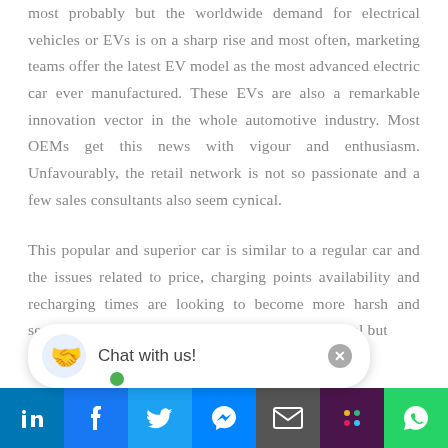most probably but the worldwide demand for electrical vehicles or EVs is on a sharp rise and most often, marketing teams offer the latest EV model as the most advanced electric car ever manufactured. These EVs are also a remarkable innovation vector in the whole automotive industry. Most OEMs get this news with vigour and enthusiasm. Unfavourably, the retail network is not so passionate and a few sales consultants also seem cynical.
This popular and superior car is similar to a regular car and the issues related to price, charging points availability and recharging times are looking to become more harsh and severe. This has led to focus on sales personnel but
[Figure (screenshot): Chat with us! overlay button with close X, and social sharing bar at bottom with LinkedIn, Facebook, Twitter, Messenger, Email, Slack, WhatsApp icons]